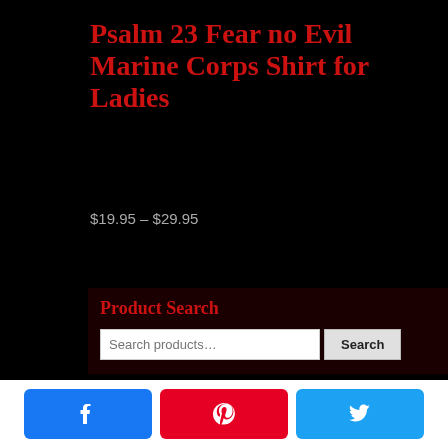Psalm 23 Fear no Evil Marine Corps Shirt for Ladies
$19.95 – $29.95
Product Search
[Figure (screenshot): Search bar with text input 'Search products…' and Search button]
Join the Dog Pound
[Figure (logo): Dark grey background with a red stylized dog/bulldog head logo icon]
[Figure (infographic): Bottom bar with Facebook (blue), Pinterest (red), and Twitter (light blue) share buttons]